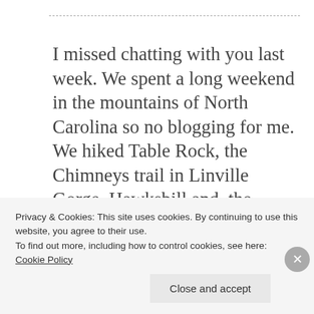I missed chatting with you last week. We spent a long weekend in the mountains of North Carolina so no blogging for me. We hiked Table Rock, the Chimneys trail in Linville Gorge, Hawksbill and, the highlight of the weekend, Profile trail up to Calloway Peak. Man oh man, that was a slog, but a
Privacy & Cookies: This site uses cookies. By continuing to use this website, you agree to their use.
To find out more, including how to control cookies, see here: Cookie Policy
Close and accept